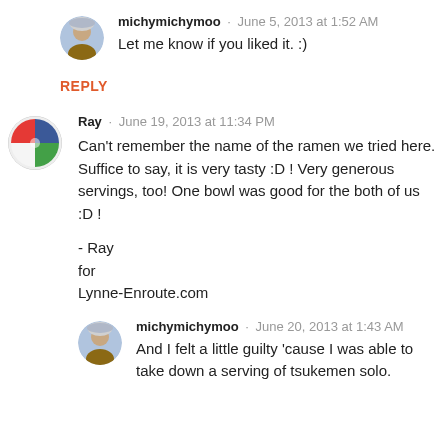[Figure (photo): Small circular avatar of michymichymoo — person in winter hat]
michymichymoo · June 5, 2013 at 1:52 AM
Let me know if you liked it. :)
REPLY
[Figure (photo): Circular avatar of Ray — colorful graphic icon with red, blue, green sections]
Ray · June 19, 2013 at 11:34 PM
Can't remember the name of the ramen we tried here. Suffice to say, it is very tasty :D ! Very generous servings, too! One bowl was good for the both of us :D !

- Ray
for
Lynne-Enroute.com
[Figure (photo): Small circular avatar of michymichymoo — person in winter hat]
michymichymoo · June 20, 2013 at 1:43 AM
And I felt a little guilty 'cause I was able to take down a serving of tsukemen solo.